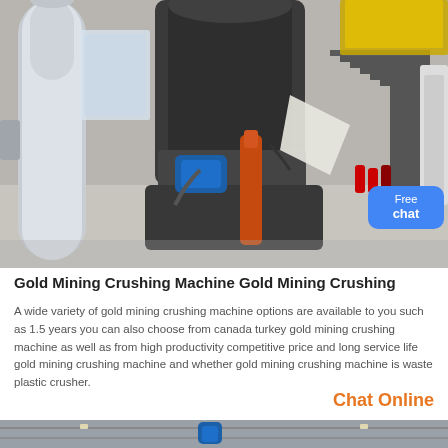[Figure (photo): Industrial gold mining crushing machine in a large factory hall. Tall cylindrical equipment with pipes, a blue electric motor, orange hydraulic components, stairs with yellow railing in background, fire extinguishers on right side.]
Gold Mining Crushing Machine Gold Mining Crushing
A wide variety of gold mining crushing machine options are available to you such as 1.5 years you can also choose from canada turkey gold mining crushing machine as well as from high productivity competitive price and long service life gold mining crushing machine and whether gold mining crushing machine is waste plastic crusher.
Chat Online
[Figure (photo): Interior of an industrial factory ceiling with metal framework and a blue motor or pump visible, partial view.]